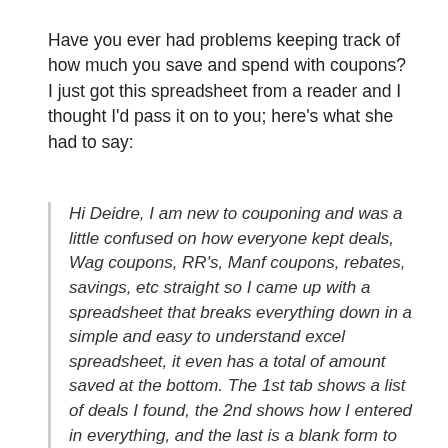Have you ever had problems keeping track of how much you save and spend with coupons?  I just got this spreadsheet from a reader and I thought I'd pass it on to you; here's what she had to say:
Hi Deidre, I am new to couponing and was a little confused on how everyone kept deals, Wag coupons, RR's, Manf coupons, rebates, savings, etc straight so I came up with a spreadsheet that breaks everything down in a simple and easy to understand excel spreadsheet, it even has a total of amount saved at the bottom. The 1st tab shows a list of deals I found, the 2nd shows how I entered in everything, and the last is a blank form to use. On mine I just keep adding more tabs at the bottom for each week I shop, that way I can go back and look thru if I have a ? or problem. I would love to send it to you so you might be able to post for other newbie's. I might not be good at couponing (still learning) but I am good with